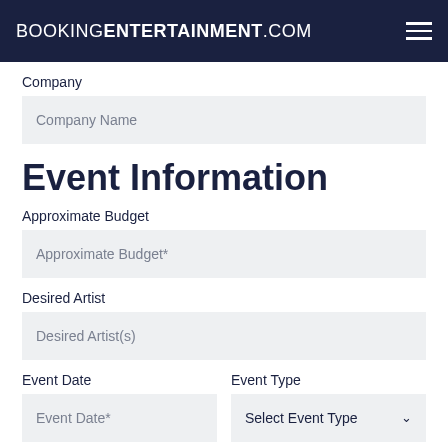BOOKINGENTERTAINMENT.COM
Company
Company Name
Event Information
Approximate Budget
Approximate Budget*
Desired Artist
Desired Artist(s)
Event Date
Event Date*
Event Type
Select Event Type